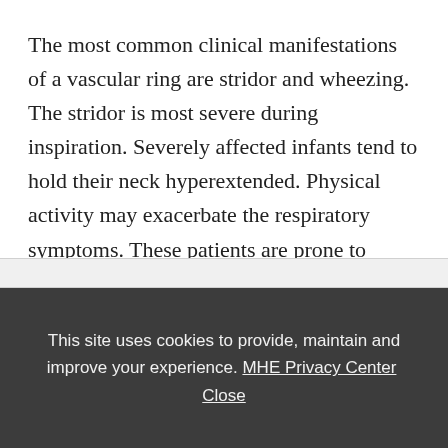The most common clinical manifestations of a vascular ring are stridor and wheezing. The stridor is most severe during inspiration. Severely affected infants tend to hold their neck hyperextended. Physical activity may exacerbate the respiratory symptoms. These patients are prone to recurrent lower respiratory tract infections. Dysphagia is a less consistent finding in patients with an arch …
This site uses cookies to provide, maintain and improve your experience. MHE Privacy Center Close